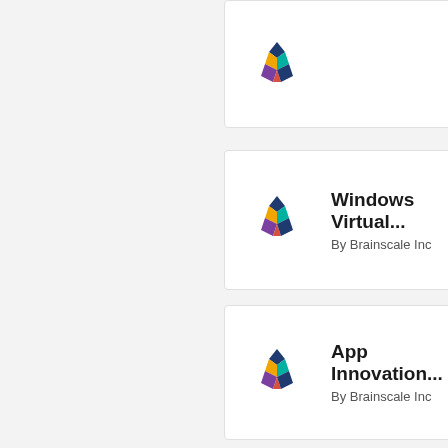[Figure (screenshot): Partial card at top with Brainscale Inc logo (cut off)]
Windows Virtual...
By Brainscale Inc
App Innovation...
By Brainscale Inc
AzMigrate - 8...
By Brainscale Inc
Open Source...
By Brainscale Inc